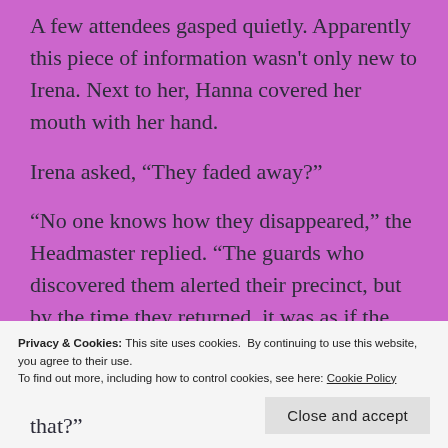A few attendees gasped quietly. Apparently this piece of information wasn't only new to Irena. Next to her, Hanna covered her mouth with her hand.
Irena asked, “They faded away?”
“No one knows how they disappeared,” the Headmaster replied. “The guards who discovered them alerted their precinct, but by the time they returned, it was as if the bodies had never been there.”
Privacy & Cookies: This site uses cookies. By continuing to use this website, you agree to their use. To find out more, including how to control cookies, see here: Cookie Policy
that?”